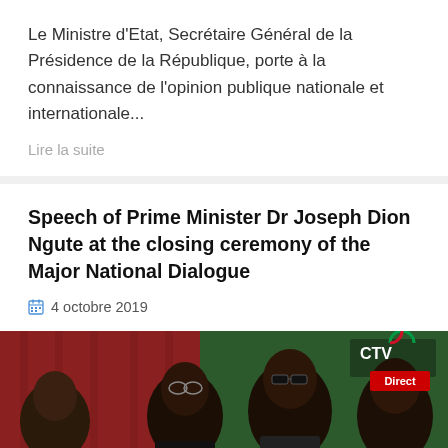Le Ministre d'Etat, Secrétaire Général de la Présidence de la République, porte à la connaissance de l'opinion publique nationale et internationale...
Lire la suite
Speech of Prime Minister Dr Joseph Dion Ngute at the closing ceremony of the Major National Dialogue
4 octobre 2019
[Figure (photo): Photo of several officials seated at a table during the Major National Dialogue closing ceremony. A CTV television logo and 'Direct' red badge appear in the top right corner. A red curtain is visible in the background on the left, and a green backdrop on the right.]